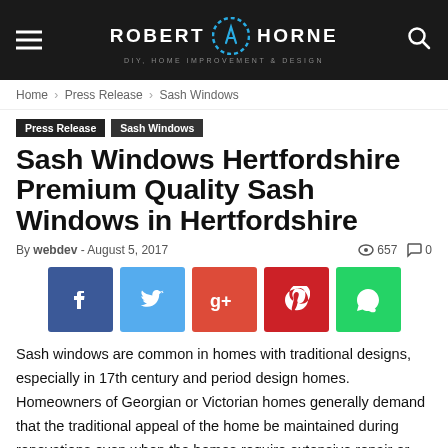ROBERT HORNE — DIY, HOME IMPROVEMENT & DESIGN
Home › Press Release › Sash Windows
Press Release   Sash Windows
Sash Windows Hertfordshire Premium Quality Sash Windows in Hertfordshire
By webdev - August 5, 2017   657   0
[Figure (other): Social sharing buttons: Facebook, Twitter, Google+, Pinterest, WhatsApp]
Sash windows are common in homes with traditional designs, especially in 17th century and period design homes. Homeowners of Georgian or Victorian homes generally demand that the traditional appeal of the home be maintained during renovations even when the homes require extensive repair or